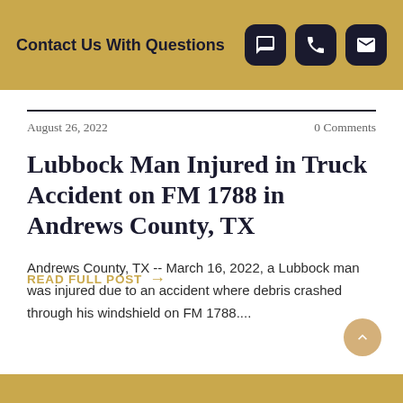Contact Us With Questions
August 26, 2022    0 Comments
Lubbock Man Injured in Truck Accident on FM 1788 in Andrews County, TX
Andrews County, TX -- March 16, 2022, a Lubbock man was injured due to an accident where debris crashed through his windshield on FM 1788....
READ FULL POST